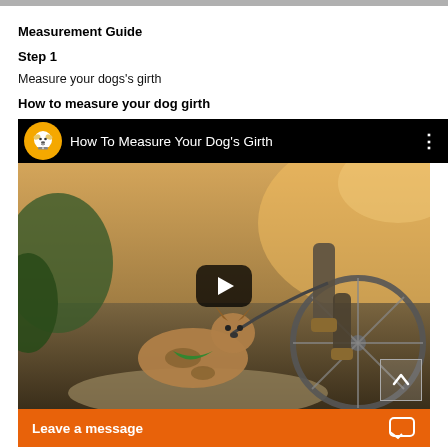Measurement Guide
Step 1
Measure your dogs's girth
How to measure your dog girth
[Figure (screenshot): YouTube video embed showing 'How To Measure Your Dog's Girth' with a dog running near a bicycle in the thumbnail, a play button in the center, channel icon on black top bar, and a 'Leave a message' orange bar at the bottom.]